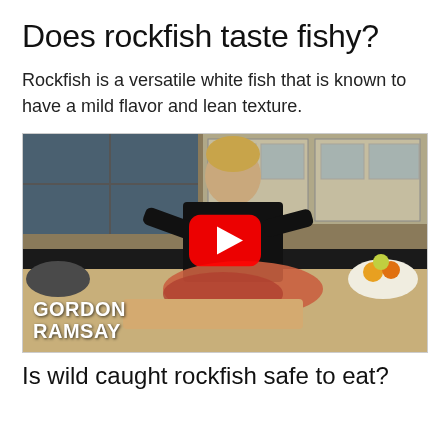Does rockfish taste fishy?
Rockfish is a versatile white fish that is known to have a mild flavor and lean texture.
[Figure (screenshot): YouTube video thumbnail showing Gordon Ramsay cooking in a kitchen, with a red YouTube play button overlay and 'GORDON RAMSAY' text label in the lower left.]
Is wild caught rockfish safe to eat?